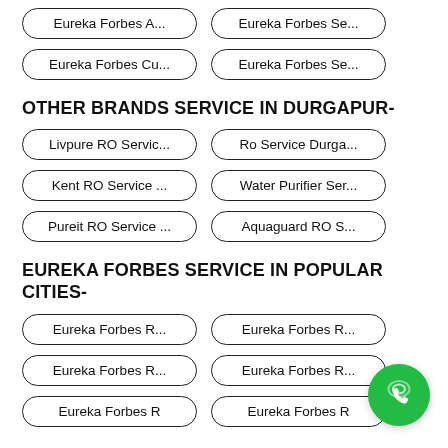Eureka Forbes A...
Eureka Forbes Se...
Eureka Forbes Cu...
Eureka Forbes Se...
OTHER BRANDS SERVICE IN DURGAPUR-
Livpure RO Servic...
Ro Service Durga...
Kent RO Service ...
Water Purifier Ser...
Pureit RO Service ...
Aquaguard RO S...
EUREKA FORBES SERVICE IN POPULAR CITIES-
Eureka Forbes R...
Eureka Forbes R...
Eureka Forbes R...
Eureka Forbes R...
Eureka Forbes R
Eureka Forbes R